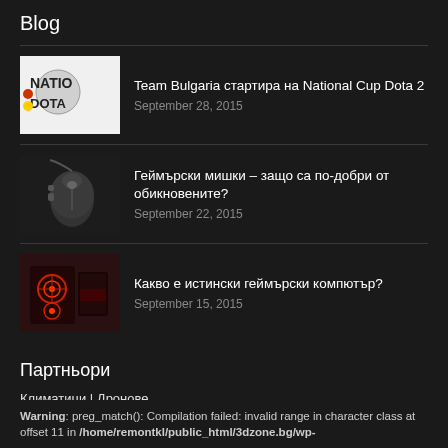Blog
Team Bulgaria стартира на National Cup Dota 2 | September 28, 2015
Геймърски мишки – защо са по-добри от обикновените? | September 22, 2015
Какво е истински геймърски компютър? | September 15, 2015
Партньори
Климатици | Дронове
Warning: preg_match(): Compilation failed: invalid range in character class at offset 11 in /home/remontkl/public_html/3dzone.bg/wp-